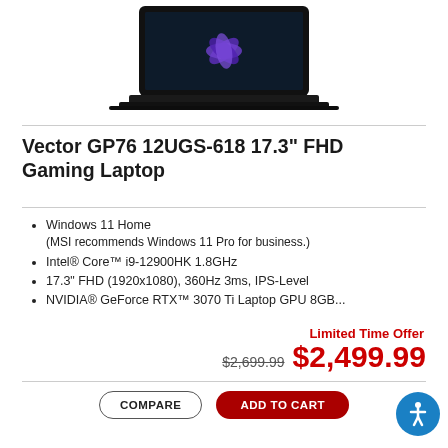[Figure (photo): MSI Vector GP76 gaming laptop shown from above-front angle with Windows 11 wallpaper on screen, on a white background.]
Vector GP76 12UGS-618 17.3" FHD Gaming Laptop
Windows 11 Home (MSI recommends Windows 11 Pro for business.)
Intel® Core™ i9-12900HK 1.8GHz
17.3" FHD (1920x1080), 360Hz 3ms, IPS-Level
NVIDIA® GeForce RTX™ 3070 Ti Laptop GPU 8GB...
Limited Time Offer
$2,699.99 $2,499.99